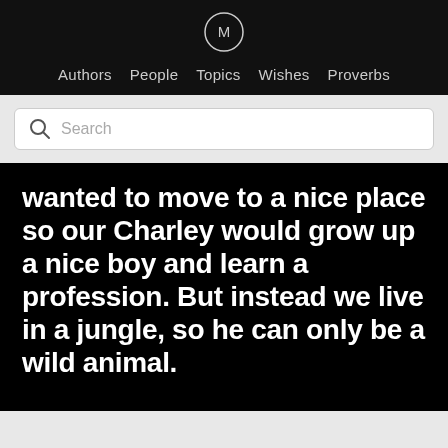Authors  People  Topics  Wishes  Proverbs
[Figure (screenshot): Search bar with magnifying glass icon and placeholder text 'Search']
wanted to move to a nice place so our Charley would grow up a nice boy and learn a profession. But instead we live in a jungle, so he can only be a wild animal.